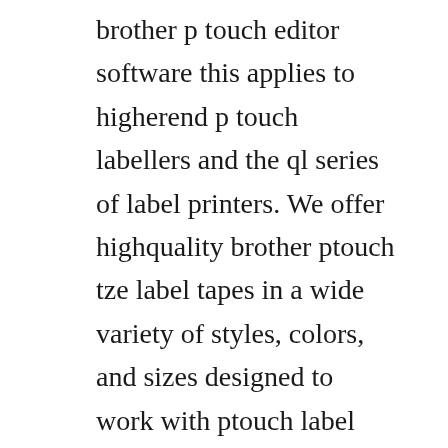brother p touch editor software this applies to higherend p touch labellers and the ql series of label printers. We offer highquality brother ptouch tze label tapes in a wide variety of styles, colors, and sizes designed to work with ptouch label makers. Can someone please help me to get a solution for this problem, its the last thing i need so i can say. The ideal entrylevel labelling machine, ideal for creating labels around your home. This durable and ruggedhandheld labeler uses new flexible id tape and rotated print for cable wrapping and flagging, industrial strength